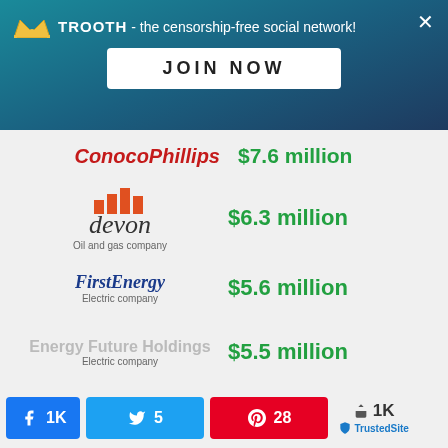[Figure (screenshot): TROOTH censorship-free social network banner with JOIN NOW button]
ConocoPhillips $7.6 million
devon (Oil and gas company) $6.3 million
FirstEnergy (Electric company) $5.6 million
Energy Future Holdings (Electric company) $5.5 million
Schlumberger (Engineering firm) $4.1 million
Baker Hughes (Texas engineering firm) $3.6 million
Duke Energy (Electric company) $3.1 million
Facebook 1K | Twitter 5 | Pinterest 28 | Share 1K | TrustedSite